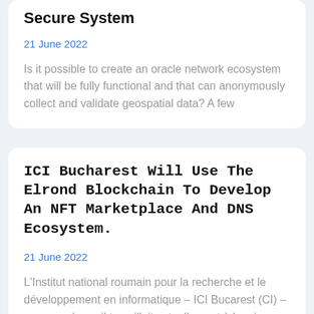Secure System
21 June 2022
Is it possible to create an oracle network ecosystem that will be fully functional and that can anonymously collect and validate geospatial data? A few
ICI Bucharest Will Use The Elrond Blockchain To Develop An NFT Marketplace And DNS Ecosystem.
21 June 2022
L'Institut national roumain pour la recherche et le développement en informatique – ICI Bucarest (CI) – a annoncé que il travaillait actuellement à la mise